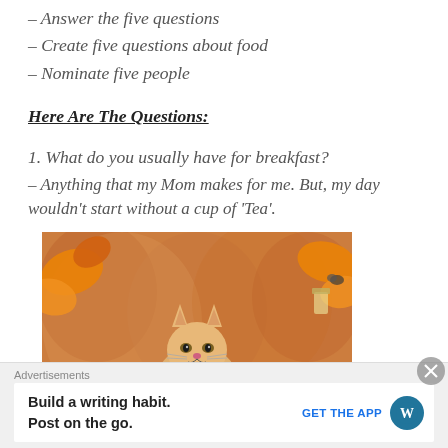– Answer the five questions
– Create five questions about food
– Nominate five people
Here Are The Questions:
1. What do you usually have for breakfast?
– Anything that my Mom makes for me. But, my day wouldn't start without a cup of 'Tea'.
[Figure (photo): Orange tabby cat sitting outdoors in autumn setting with orange and yellow leaves and bokeh background]
Advertisements
Build a writing habit. Post on the go.  GET THE APP  [WordPress logo]